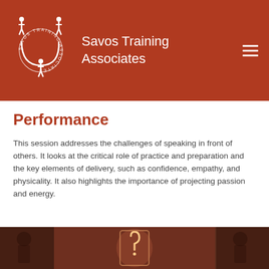[Figure (logo): Savos Training Associates logo with three human figures arranged in a U-shape with circular text reading 'SAVOS TRAINING ASSOCIATES']
Savos Training Associates
Performance
This session addresses the challenges of speaking in front of others. It looks at the critical role of practice and preparation and the key elements of delivery, such as confidence, empathy, and physicality. It also highlights the importance of projecting passion and energy.
[Figure (photo): Dark atmospheric photo showing a neon question mark light sculpture, with people visible in the background]